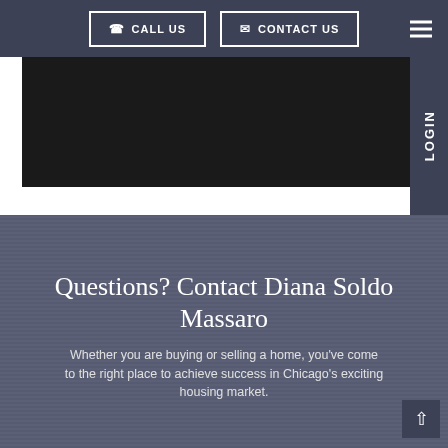CALL US   CONTACT US
[Figure (screenshot): Dark rectangular image area representing a map or property photo]
Questions? Contact Diana Soldo Massaro
Whether you are buying or selling a home, you've come to the right place to achieve success in Chicago's exciting housing market.